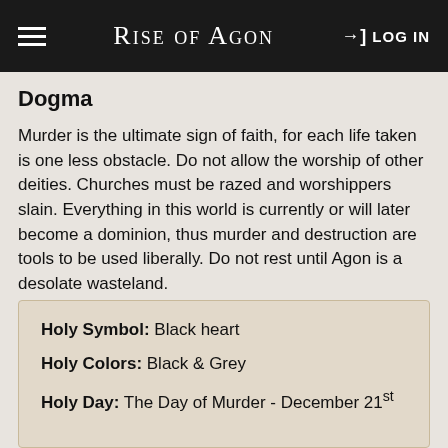Rise of Agon | LOG IN
Dogma
Murder is the ultimate sign of faith, for each life taken is one less obstacle. Do not allow the worship of other deities. Churches must be razed and worshippers slain. Everything in this world is currently or will later become a dominion, thus murder and destruction are tools to be used liberally. Do not rest until Agon is a desolate wasteland.
| Holy Symbol: | Black heart |
| Holy Colors: | Black & Grey |
| Holy Day: | The Day of Murder - December 21st |